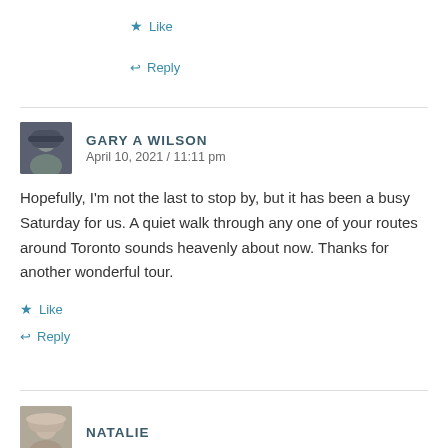★ Like
↩ Reply
GARY A WILSON
April 10, 2021 / 11:11 pm
Hopefully, I'm not the last to stop by, but it has been a busy Saturday for us. A quiet walk through any one of your routes around Toronto sounds heavenly about now. Thanks for another wonderful tour.
★ Like
↩ Reply
NATALIE